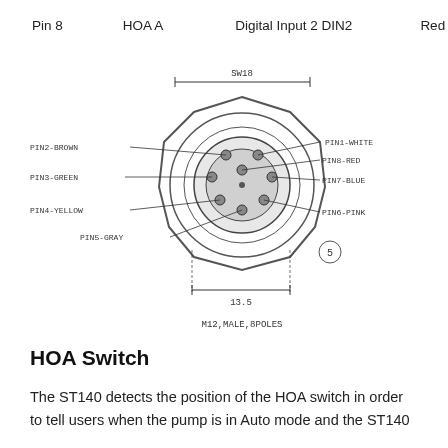Pin 8    HOA A    Digital Input 2 DIN2    Red
[Figure (engineering-diagram): M12 male 8-pole circular connector diagram showing SW18 outer dimension and 13.5 inner dimension, with pin labels: PIN1-WHITE, PIN2-BROWN, PIN3-GREEN, PIN4-YELLOW, PIN5-GRAY, PIN6-PINK, PIN7-BLUE, PIN8-RED. Label 'M12,MALE,8POLES' below.]
HOA Switch
The ST140 detects the position of the HOA switch in order to tell users when the pump is in Auto mode and the ST140